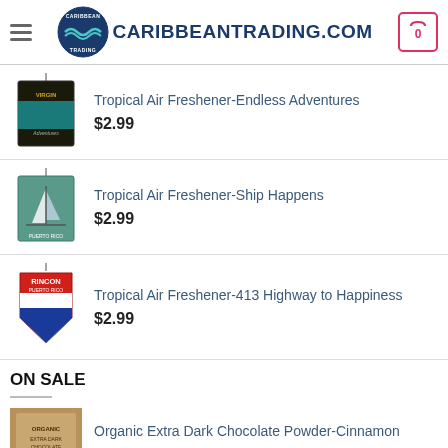CARIBBEANTRADING.COM
Tropical Air Freshener-Endless Adventures
$2.99
Tropical Air Freshener-Ship Happens
$2.99
Tropical Air Freshener-413 Highway to Happiness
$2.99
ON SALE
Organic Extra Dark Chocolate Powder-Cinnamon
$17.99  $15.99